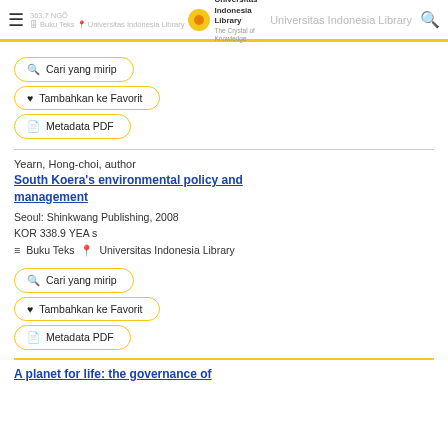363.7 NGO  Buku Teks  Universitas Indonesia Library  Universitas Indonesia Library The Crystal of Knowledge
Cari yang mirip
Tambahkan ke Favorit
Metadata PDF
Yearn, Hong-choi, author
South Koera's environmental policy and management
Seoul: Shinkwang Publishing, 2008
KOR 338.9 YEA s
Buku Teks  Universitas Indonesia Library
Cari yang mirip
Tambahkan ke Favorit
Metadata PDF
A planet for life: the governance of